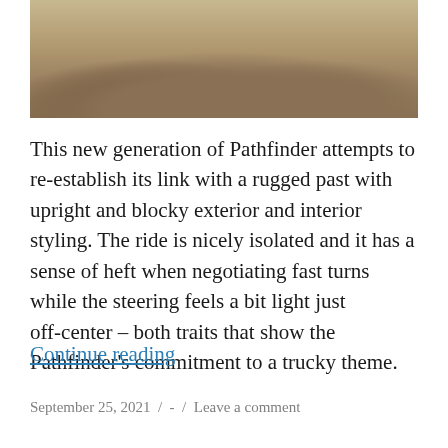[Figure (photo): Close-up photograph of sandy/rocky dirt mounds or terrain, brownish earth tones, showing rugged off-road ground surface.]
This new generation of Pathfinder attempts to re-establish its link with a rugged past with upright and blocky exterior and interior styling. The ride is nicely isolated and it has a sense of heft when negotiating fast turns while the steering feels a bit light just off-center – both traits that show the Pathfinder's commitment to a trucky theme.
Continue reading
September 25, 2021  /  -  /  Leave a comment